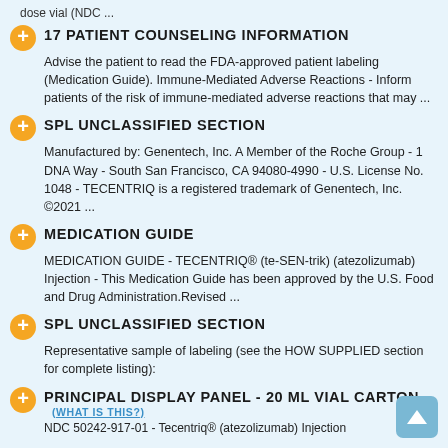dose vial (NDC ...
17 PATIENT COUNSELING INFORMATION
Advise the patient to read the FDA-approved patient labeling (Medication Guide). Immune-Mediated Adverse Reactions - Inform patients of the risk of immune-mediated adverse reactions that may ...
SPL UNCLASSIFIED SECTION
Manufactured by: Genentech, Inc. A Member of the Roche Group - 1 DNA Way - South San Francisco, CA 94080-4990 - U.S. License No. 1048 - TECENTRIQ is a registered trademark of Genentech, Inc. ©2021 ...
MEDICATION GUIDE
MEDICATION GUIDE - TECENTRIQ® (te-SEN-trik) (atezolizumab) Injection - This Medication Guide has been approved by the U.S. Food and Drug Administration.Revised ...
SPL UNCLASSIFIED SECTION
Representative sample of labeling (see the HOW SUPPLIED section for complete listing):
PRINCIPAL DISPLAY PANEL - 20 ML VIAL CARTON
NDC 50242-917-01 - Tecentriq® (atezolizumab) Injection